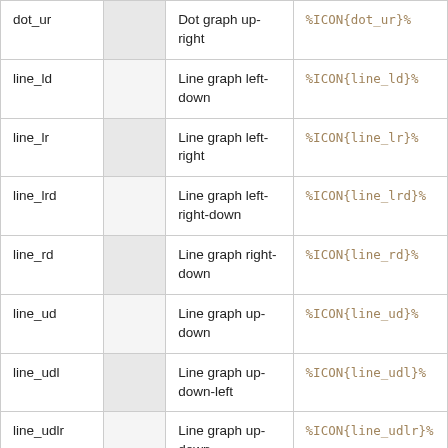| Name | Icon | Description | Syntax |
| --- | --- | --- | --- |
| dot_ur |  | Dot graph up-right | %ICON{dot_ur}% |
| line_ld |  | Line graph left-down | %ICON{line_ld}% |
| line_lr |  | Line graph left-right | %ICON{line_lr}% |
| line_lrd |  | Line graph left-right-down | %ICON{line_lrd}% |
| line_rd |  | Line graph right-down | %ICON{line_rd}% |
| line_ud |  | Line graph up-down | %ICON{line_ud}% |
| line_udl |  | Line graph up-down-left | %ICON{line_udl}% |
| line_udlr |  | Line graph up-down- | %ICON{line_udlr}% |